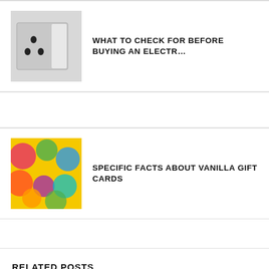[Figure (photo): Electrical outlet/socket image thumbnail]
WHAT TO CHECK FOR BEFORE BUYING AN ELECTR…
[Figure (photo): Colorful balloons or candy gift card image thumbnail]
SPECIFIC FACTS ABOUT VANILLA GIFT CARDS
RELATED POSTS